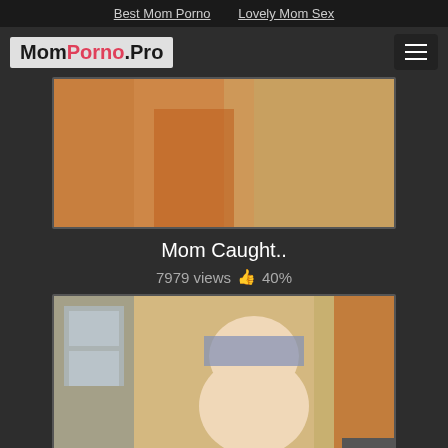Best Mom Porno   Lovely Mom Sex
MomPorno.Pro
[Figure (photo): Video thumbnail showing partial view with orange/warm tones]
Mom Caught..
7979 views 👍 40%
[Figure (photo): Video thumbnail showing a woman in a blue top in an indoor setting]